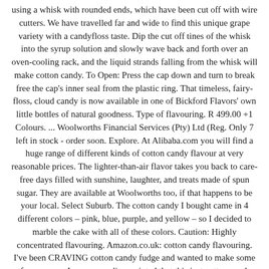using a whisk with rounded ends, which have been cut off with wire cutters. We have travelled far and wide to find this unique grape variety with a candyfloss taste. Dip the cut off tines of the whisk into the syrup solution and slowly wave back and forth over an oven-cooling rack, and the liquid strands falling from the whisk will make cotton candy. To Open: Press the cap down and turn to break free the cap's inner seal from the plastic ring. That timeless, fairy-floss, cloud candy is now available in one of Bickford Flavors' own little bottles of natural goodness. Type of flavouring. R 499.00 +1 Colours. ... Woolworths Financial Services (Pty) Ltd (Reg. Only 7 left in stock - order soon. Explore. At Alibaba.com you will find a huge range of different kinds of cotton candy flavour at very reasonable prices. The lighter-than-air flavor takes you back to care-free days filled with sunshine, laughter, and treats made of spun sugar. They are available at Woolworths too, if that happens to be your local. Select Suburb. The cotton candy I bought came in 4 different colors – pink, blue, purple, and yellow – so I decided to marble the cake with all of these colors. Caution: Highly concentrated flavouring. Amazon.co.uk: cotton candy flavouring. I've been CRAVING cotton candy fudge and wanted to make some of my own so I was super disappointed that this isnt cotton candy. 99 - $116.99 $ 116. Ingredients: Sugar Syrup, Monopropylene Glycol, Water, Natural Flavour. … As flavor experts and, of course, candy connoisseurs, we love using and recommending our highly concentrated flavoring oils. Cotton